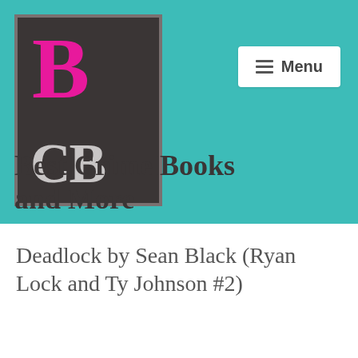[Figure (logo): Best Crime Books logo: dark square with pink B and grey GB letters]
[Figure (screenshot): Menu button with hamburger icon and Menu text on white rounded rectangle]
Best Crime Books and More
Deadlock by Sean Black (Ryan Lock and Ty Johnson #2)